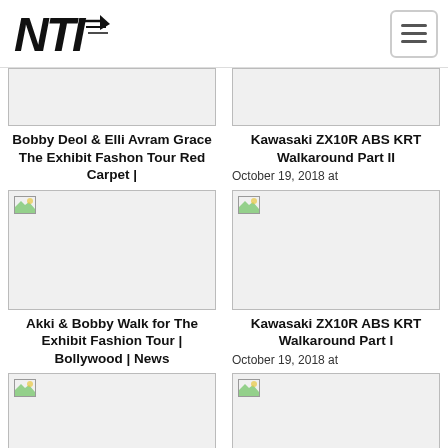NTI logo and hamburger menu
[Figure (screenshot): Truncated image card top — Bobby Deol & Elli Avram]
Bobby Deol & Elli Avram Grace The Exhibit Fashon Tour Red Carpet |
[Figure (screenshot): Truncated image card top — Kawasaki ZX10R ABS KRT Walkaround Part II]
Kawasaki ZX10R ABS KRT Walkaround Part II
October 19, 2018 at
[Figure (photo): Image placeholder for Akki & Bobby Walk for The Exhibit Fashion Tour]
Akki & Bobby Walk for The Exhibit Fashion Tour | Bollywood | News
[Figure (photo): Image placeholder for Kawasaki ZX10R ABS KRT Walkaround Part I]
Kawasaki ZX10R ABS KRT Walkaround Part I
October 19, 2018 at
[Figure (photo): Partially visible image placeholder bottom left]
[Figure (photo): Partially visible image placeholder bottom right]